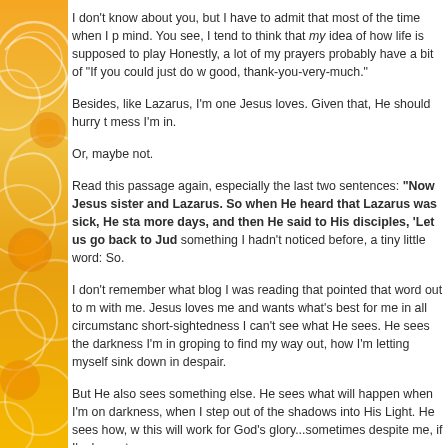[Figure (illustration): Left side decorative orange/yellow gradient bar with circular swirl motifs]
I don't know about you, but I have to admit that most of the time when I p... mind. You see, I tend to think that my idea of how life is supposed to play... Honestly, a lot of my prayers probably have a bit of "If you could just do w... good, thank-you-very-much."
Besides, like Lazarus, I'm one Jesus loves. Given that, He should hurry t... mess I'm in.
Or, maybe not.
Read this passage again, especially the last two sentences: "Now Jesus... sister and Lazarus. So when He heard that Lazarus was sick, He sta... more days, and then He said to His disciples, 'Let us go back to Jud... something I hadn't noticed before, a tiny little word: So.
I don't remember what blog I was reading that pointed that word out to m... with me. Jesus loves me and wants what's best for me in all circumstanc... short-sightedness I can't see what He sees. He sees the darkness I'm in... groping to find my way out, how I'm letting myself sink down in despair.
But He also sees something else. He sees what will happen when I'm on... darkness, when I step out of the shadows into His Light. He sees how, w... this will work for God's glory...sometimes despite me, if I'm honest.